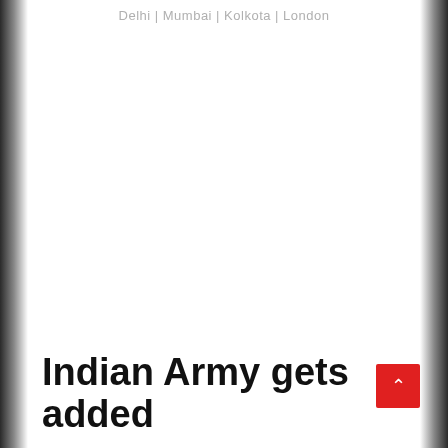Delhi | Mumbai | Kolkota | London
Indian Army gets added